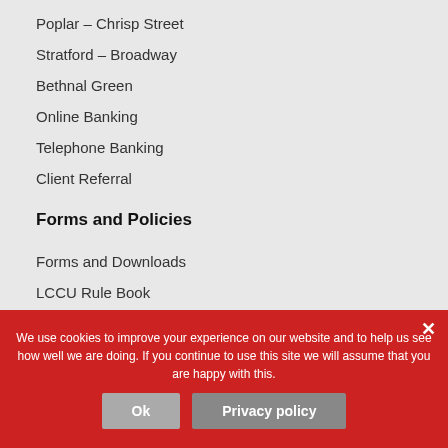Poplar – Chrisp Street
Stratford – Broadway
Bethnal Green
Online Banking
Telephone Banking
Client Referral
Forms and Policies
Forms and Downloads
LCCU Rule Book
How we handle complaints
Financial Services Compensation Scheme
Modern Slavery & Human Trafficking
Privacy Policy
Cookie Policy
Website Terms & Conditions
Site Links
We use cookies to improve your experience on our website and to help us see how well we are doing. If you continue to use this site we will assume that you are happy with this.